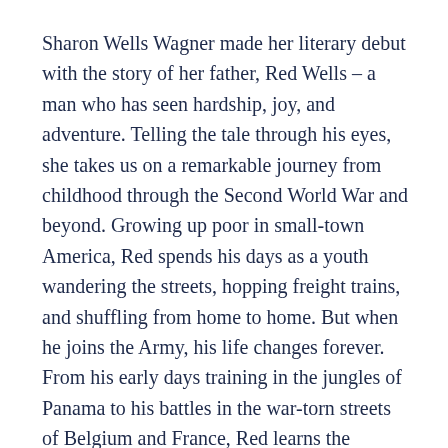Sharon Wells Wagner made her literary debut with the story of her father, Red Wells – a man who has seen hardship, joy, and adventure. Telling the tale through his eyes, she takes us on a remarkable journey from childhood through the Second World War and beyond. Growing up poor in small-town America, Red spends his days as a youth wandering the streets, hopping freight trains, and shuffling from home to home. But when he joins the Army, his life changes forever. From his early days training in the jungles of Panama to his battles in the war-torn streets of Belgium and France, Red learns the meaning of family from the men with whom he serves – the men of the 99th Infantry Battalion (Separate). The lessons he learns and the events he witnesses influence who he becomes, and he returns home a new man. Red Wells is more than a book. It is a true story – a legacy to an...